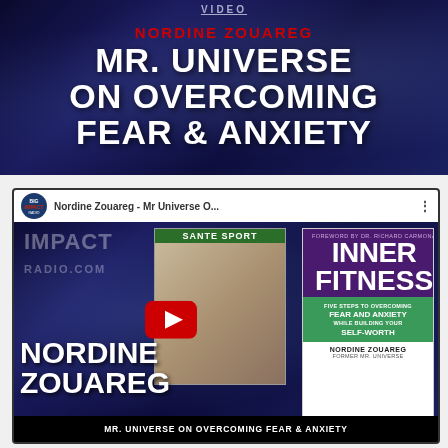[Figure (screenshot): Banner image with dark starry night sky background. Red bold text reads 'NORDINE ZOUAREG', below in large white bold text: 'MR. UNIVERSE ON OVERCOMING FEAR & ANXIETY'. Small 'VIDEO' label at top.]
[Figure (screenshot): YouTube video thumbnail for 'Nordine Zouareg - Mr Universe O...' showing Big Impact Radio logo in header, cosmic background, magazine cover of Sante Sport with muscular man, book cover of 'Inner Fitness' by Nordine Zouareg with purple and green design, YouTube play button overlay, large white text 'NORDINE ZOUAREG' and bottom black bar 'MR. UNIVERSE ON OVERCOMING FEAR & ANXIETY'.]